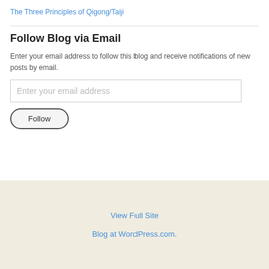The Three Principles of Qigong/Taiji
Follow Blog via Email
Enter your email address to follow this blog and receive notifications of new posts by email.
View Full Site
Blog at WordPress.com.